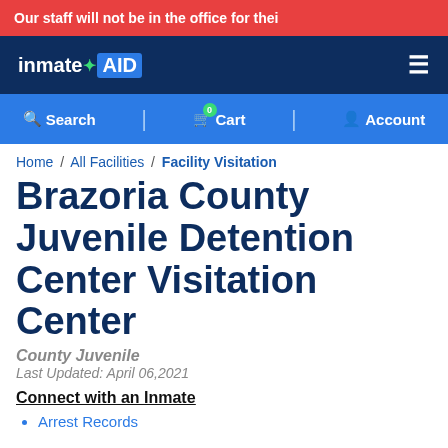Our staff will not be in the office for thei
[Figure (logo): InmateAID logo with hamburger menu icon on dark navy background]
Search | Cart (0) | Account
Home / All Facilities / Facility Visitation
Brazoria County Juvenile Detention Center Visitation Center
County Juvenile
Last Updated: April 06, 2021
Connect with an Inmate
Arrest Records